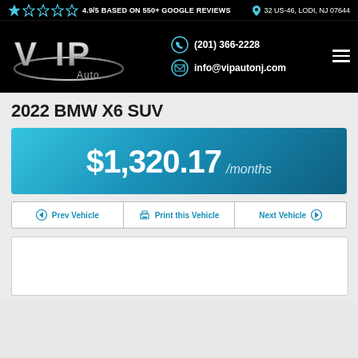4.9/5 BASED ON 550+ GOOGLE REVIEWS | 32 US-46, LODI, NJ 07644 | (201) 366-2228 | info@vipautonj.com
[Figure (logo): VIP Auto dealership logo in silver chrome lettering on black background]
2022 BMW X6 SUV
$1,320.17 /months
Prev Vehicle | Print this Vehicle | Next Vehicle